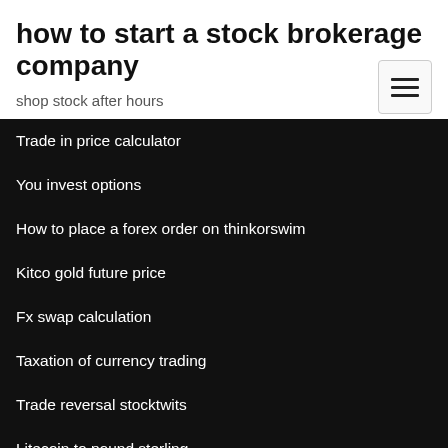how to start a stock brokerage company
shop stock after hours
Trade in price calculator
You invest options
How to place a forex order on thinkorswim
Kitco gold future price
Fx swap calculation
Taxation of currency trading
Trade reversal stocktwits
Litecoin to pound sterling
How to get rich trading forex